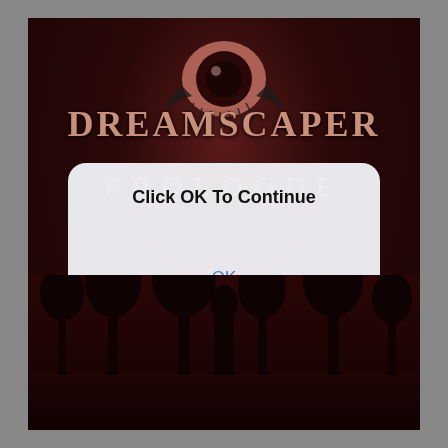[Figure (screenshot): Dreamscaper Prologue game title screen with a stylized eye logo, dark reddish-brown moody background with silhouetted trees, showing a system dialog overlay with 'Click OK To Continue' message and an OK button.]
DREAMSCAPER
PROLOGUE
Click OK To Continue
OK